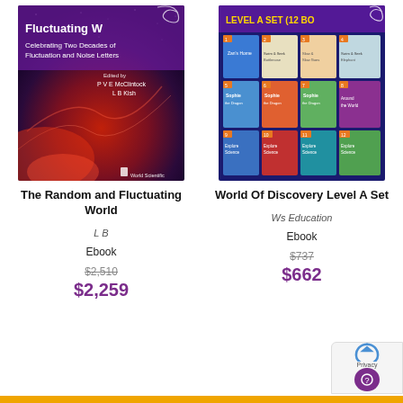[Figure (photo): Book cover for 'The Random and Fluctuating World' published by World Scientific, with a dark red/purple nebula and starfield background]
[Figure (photo): Box set cover for 'World Of Discovery Level A Set (12 Books)' with colorful children's book thumbnails on a dark blue background]
The Random and Fluctuating World
World Of Discovery Level A Set
L B
Ws Education
Ebook
Ebook
$2,510
$737
$2,259
$662